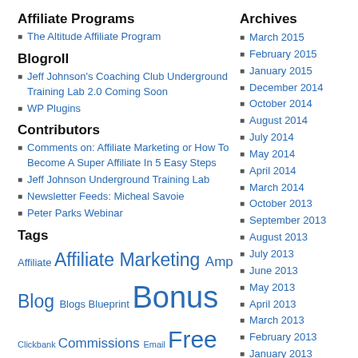Affiliate Programs
The Altitude Affiliate Program
Blogroll
Jeff Johnson's Coaching Club Underground Training Lab 2.0 Coming Soon
WP Plugins
Contributors
Comments on: Affiliate Marketing or How To Become A Super Affiliate In 5 Easy Steps
Jeff Johnson Underground Training Lab
Newsletter Feeds: Micheal Savoie
Peter Parks Webinar
Tags
Affiliate Affiliate Marketing Amp Blog Blogs Blueprint Bonus Clickbank Commissions Email Free Traffic Free Video free web traffic Google Guru
Archives
March 2015
February 2015
January 2015
December 2014
October 2014
August 2014
July 2014
May 2014
April 2014
March 2014
October 2013
September 2013
August 2013
July 2013
June 2013
May 2013
April 2013
March 2013
February 2013
January 2013
December 2012
November 2012